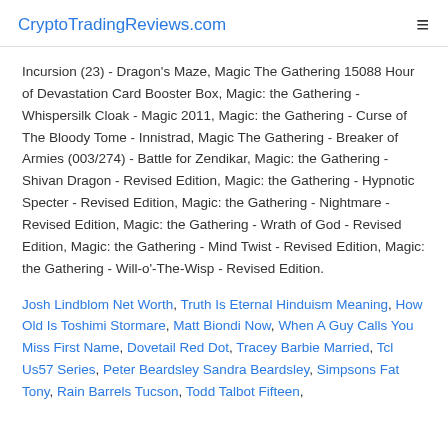CryptoTradingReviews.com
Incursion (23) - Dragon's Maze, Magic The Gathering 15088 Hour of Devastation Card Booster Box, Magic: the Gathering - Whispersilk Cloak - Magic 2011, Magic: the Gathering - Curse of The Bloody Tome - Innistrad, Magic The Gathering - Breaker of Armies (003/274) - Battle for Zendikar, Magic: the Gathering - Shivan Dragon - Revised Edition, Magic: the Gathering - Hypnotic Specter - Revised Edition, Magic: the Gathering - Nightmare - Revised Edition, Magic: the Gathering - Wrath of God - Revised Edition, Magic: the Gathering - Mind Twist - Revised Edition, Magic: the Gathering - Will-o'-The-Wisp - Revised Edition.
Josh Lindblom Net Worth, Truth Is Eternal Hinduism Meaning, How Old Is Toshimi Stormare, Matt Biondi Now, When A Guy Calls You Miss First Name, Dovetail Red Dot, Tracey Barbie Married, Tcl Us57 Series, Peter Beardsley Sandra Beardsley, Simpsons Fat Tony, Rain Barrels Tucson, Todd Talbot Fifteen,